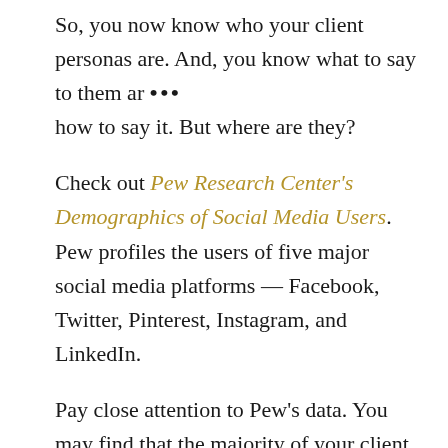So, you now know who your client personas are. And, you know what to say to them and how to say it. But where are they?
Check out Pew Research Center's Demographics of Social Media Users. Pew profiles the users of five major social media platforms — Facebook, Twitter, Pinterest, Instagram, and LinkedIn.
Pay close attention to Pew's data. You may find that the majority of your client personas spend most of their time on one network. This should...